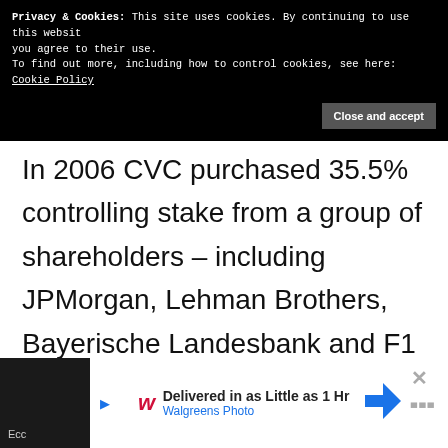Privacy & Cookies: This site uses cookies. By continuing to use this website you agree to their use. To find out more, including how to control cookies, see here: Cookie Policy
Close and accept
In 2006 CVC purchased 35.5% controlling stake from a group of shareholders – including JPMorgan, Lehman Brothers, Bayerische Landesbank and F1 CEO Bernie Ecclestone, who still retains a five per cent stake in the business.
[Figure (screenshot): Walgreens Photo advertisement banner: 'Delivered in as Little as 1 Hr' with Walgreens logo and navigation arrow icon.]